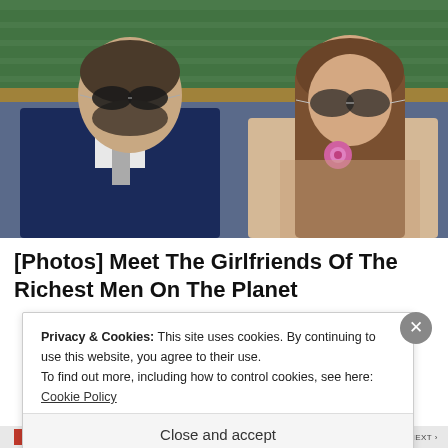[Figure (photo): Two people sitting in stadium seats at what appears to be Wimbledon. On the left, an older man in a dark navy suit with a light gray tie and sunglasses. On the right, a young woman with long brown hair wearing a beige lace outfit with a pink flower, also wearing aviator sunglasses. Green stadium seats visible in background.]
[Photos] Meet The Girlfriends Of The Richest Men On The Planet
Privacy & Cookies: This site uses cookies. By continuing to use this website, you agree to their use.
To find out more, including how to control cookies, see here: Cookie Policy
Close and accept